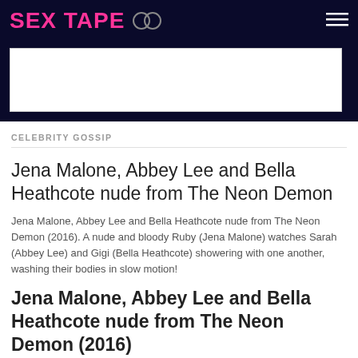SEX TAPE
[Figure (other): Advertisement banner placeholder white box]
CELEBRITY GOSSIP
Jena Malone, Abbey Lee and Bella Heathcote nude from The Neon Demon
Jena Malone, Abbey Lee and Bella Heathcote nude from The Neon Demon (2016). A nude and bloody Ruby (Jena Malone) watches Sarah (Abbey Lee) and Gigi (Bella Heathcote) showering with one another, washing their bodies in slow motion!
Jena Malone, Abbey Lee and Bella Heathcote nude from The Neon Demon (2016)
Jena Malone, Abbey Lee and Bella Heathcote nude from The Neon Demon